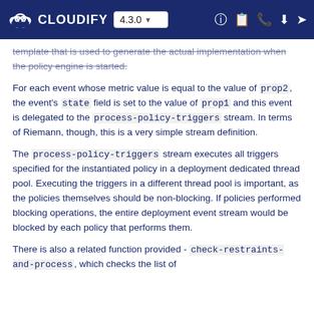CLOUDIFY 4.3.0
template that is used to generate the actual implementation when the policy engine is started.
For each event whose metric value is equal to the value of prop2, the event's state field is set to the value of prop1 and this event is delegated to the process-policy-triggers stream. In terms of Riemann, though, this is a very simple stream definition.
The process-policy-triggers stream executes all triggers specified for the instantiated policy in a deployment dedicated thread pool. Executing the triggers in a different thread pool is important, as the policies themselves should be non-blocking. If policies performed blocking operations, the entire deployment event stream would be blocked by each policy that performs them.
There is also a related function provided - check-restraints-and-process, which checks the list of